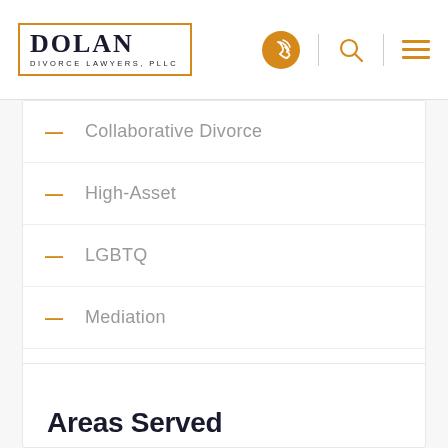DOLAN DIVORCE LAWYERS, PLLC
Collaborative Divorce
High-Asset
LGBTQ
Mediation
Post-Divorce Disputes
Areas Served